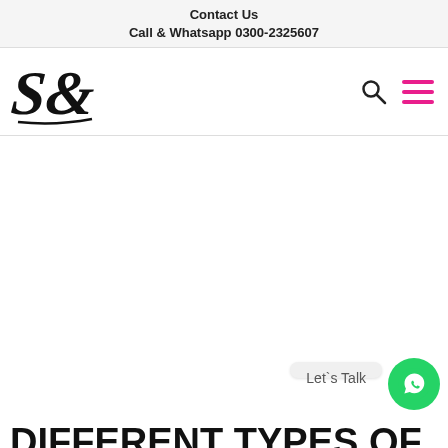Contact Us
Call & Whatsapp 0300-2325607
[Figure (logo): Stylized S& ampersand logo in black script/calligraphy style]
[Figure (other): Search icon (magnifying glass) and hamburger menu icon (three magenta lines)]
[Figure (other): Large white hero/banner area (mostly blank)]
[Figure (other): Let's Talk chat bubble and WhatsApp green circle button]
DIFFERENT TYPES OF CARPETS AND RUGS